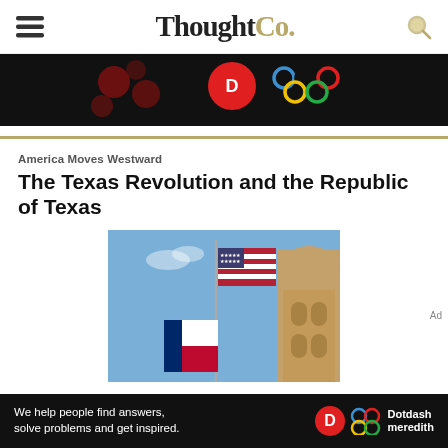ThoughtCo.
[Figure (screenshot): Top advertisement banner with dark background showing red circles and Olympic rings]
America Moves Westward
The Texas Revolution and the Republic of Texas
[Figure (photo): American flag and Texas flag flying in front of a government building dome against a blue sky]
[Figure (screenshot): Bottom advertisement banner: 'We help people find answers, solve problems and get inspired.' with Dotdash Meredith logo]